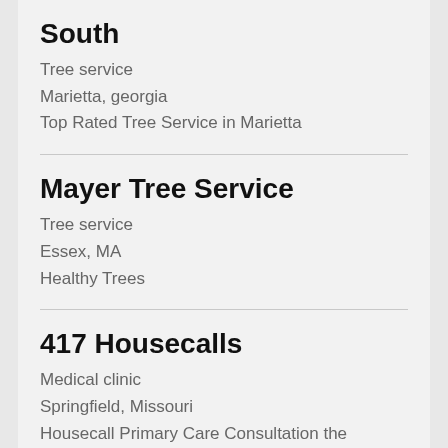South
Tree service
Marietta, georgia
Top Rated Tree Service in Marietta
Mayer Tree Service
Tree service
Essex, MA
Healthy Trees
417 Housecalls
Medical clinic
Springfield, Missouri
Housecall Primary Care Consultation the